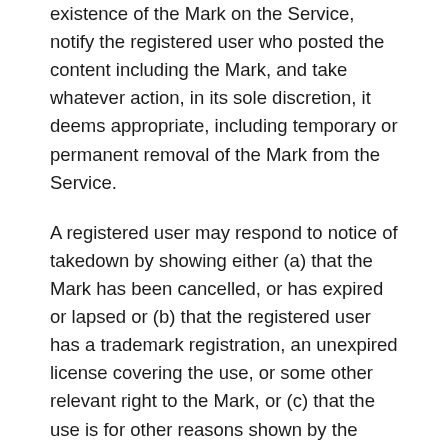existence of the Mark on the Service, notify the registered user who posted the content including the Mark, and take whatever action, in its sole discretion, it deems appropriate, including temporary or permanent removal of the Mark from the Service.
A registered user may respond to notice of takedown by showing either (a) that the Mark has been cancelled, or has expired or lapsed or (b) that the registered user has a trademark registration, an unexpired license covering the use, or some other relevant right to the Mark, or (c) that the use is for other reasons shown by the registered user non-infringing. If the registered user makes an appropriate showing of either (a), (b) or (c) then our Designated Copyright Agent may exercise its discretion not to remove the Mark.